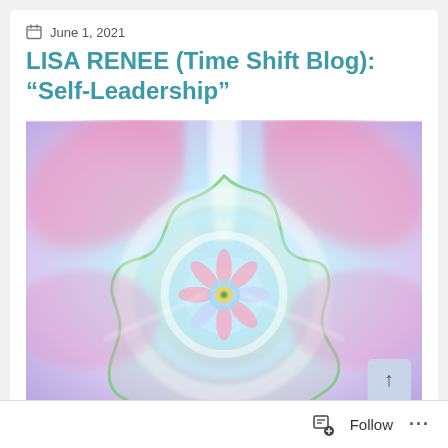June 1, 2021
LISA RENEE (Time Shift Blog): “Self-Leadership”
[Figure (illustration): A colorful mandala-style digital artwork with pastel pink, purple, blue, green, and yellow tones, featuring radial symmetry with floral patterns at the center and wing-like forms at the top.]
Follow ...